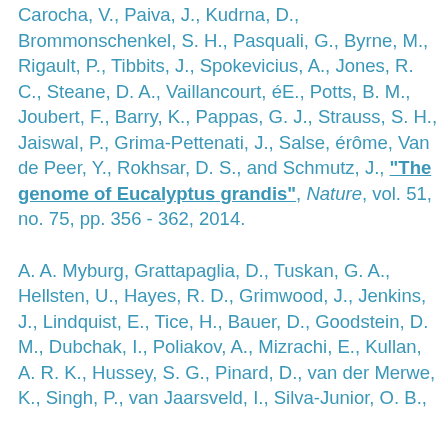Carocha, V., Paiva, J., Kudrna, D., Brommonschenkel, S. H., Pasquali, G., Byrne, M., Rigault, P., Tibbits, J., Spokevicius, A., Jones, R. C., Steane, D. A., Vaillancourt, éE., Potts, B. M., Joubert, F., Barry, K., Pappas, G. J., Strauss, S. H., Jaiswal, P., Grima-Pettenati, J., Salse, érôme, Van de Peer, Y., Rokhsar, D. S., and Schmutz, J., "The genome of Eucalyptus grandis", Nature, vol. 51, no. 75, pp. 356 - 362, 2014.
A. A. Myburg, Grattapaglia, D., Tuskan, G. A., Hellsten, U., Hayes, R. D., Grimwood, J., Jenkins, J., Lindquist, E., Tice, H., Bauer, D., Goodstein, D. M., Dubchak, I., Poliakov, A., Mizrachi, E., Kullan, A. R. K., Hussey, S. G., Pinard, D., van der Merwe, K., Singh, P., van Jaarsveld, I., Silva-Junior, O. B.,